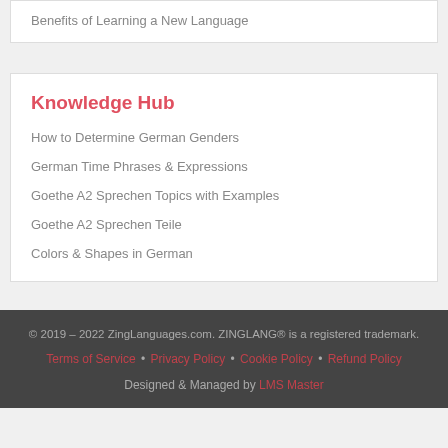Benefits of Learning a New Language
Knowledge Hub
How to Determine German Genders
German Time Phrases & Expressions
Goethe A2 Sprechen Topics with Examples
Goethe A2 Sprechen Teile
Colors & Shapes in German
© 2019 – 2022 ZingLanguages.com. ZINGLANG® is a registered trademark. Terms of Service • Privacy Policy • Cookie Policy • Refund Policy Designed & Managed by LMS Master